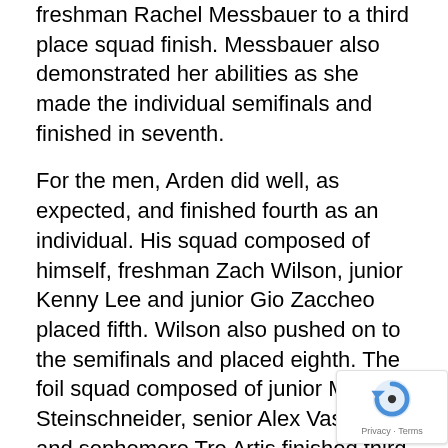freshman Rachel Messbauer to a third place squad finish. Messbauer also demonstrated her abilities as she made the individual semifinals and finished in seventh.
For the men, Arden did well, as expected, and finished fourth as an individual. His squad composed of himself, freshman Zach Wilson, junior Kenny Lee and junior Gio Zaccheo placed fifth. Wilson also pushed on to the semifinals and placed eighth. The foil squad composed of junior Matt Steinschneider, senior Alex Vastola and sophomore Tre Artis finished third as a squad, while Steinschneider placed 10th individually. The men's three-weapon team also impressed with a fifth place finish. Overall, the Brewers were valiant in their efforts.
Senior Tavish Pegram clarified the team's goals for the rest of the season. “Ideally we would win the rest of matches in the league (including beating arch-rival Heard; but they are very strong this year so that may be a